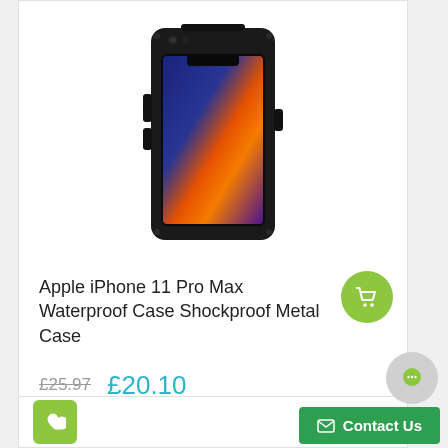[Figure (photo): Apple iPhone 11 Pro Max in a black waterproof shockproof metal case, showing the phone's colorful wallpaper through the front]
Apple iPhone 11 Pro Max Waterproof Case Shockproof Metal Case
£25.97  £20.10